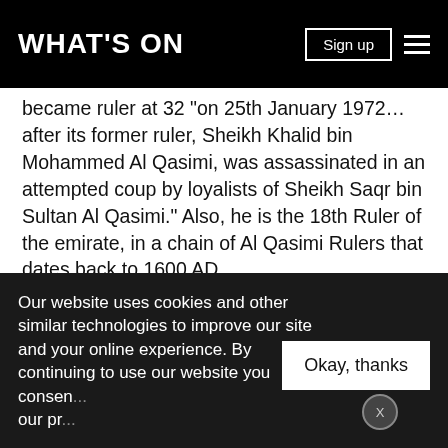WHAT'S ON
became ruler at 32 "on 25th January 1972… after its former ruler, Sheikh Khalid bin Mohammed Al Qasimi, was assassinated in an attempted coup by loyalists of Sheikh Saqr bin Sultan Al Qasimi." Also, he is the 18th Ruler of the emirate, in a chain of Al Qasimi Rulers that dates back to 1600 AD.
[Figure (photo): Portrait photo of a man wearing traditional white Arab headdress (keffiyeh), photographed against a light background]
Our website uses cookies and other similar technologies to improve our site and your online experience. By continuing to use our website you consen... our pr...